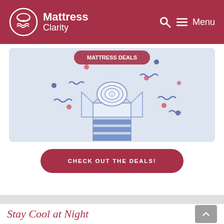Mattress Clarity — Menu
[Figure (illustration): Illustration of a rolled mattress in an open shipping box with confetti and decorative elements on a light blue background]
CHECK OUT THE DEALS!
Stay Cool at Night